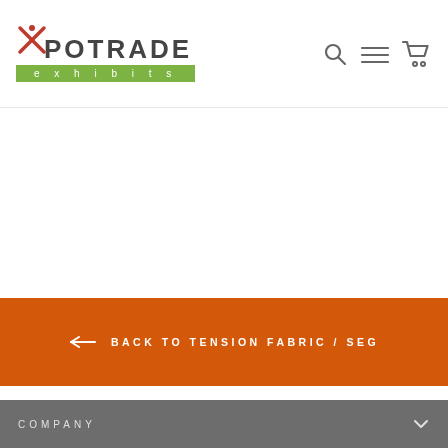EXPOTRADE exhibits
FA
DIS
$2,
← BACK TO TENSION FABRIC / SEG
COMPANY